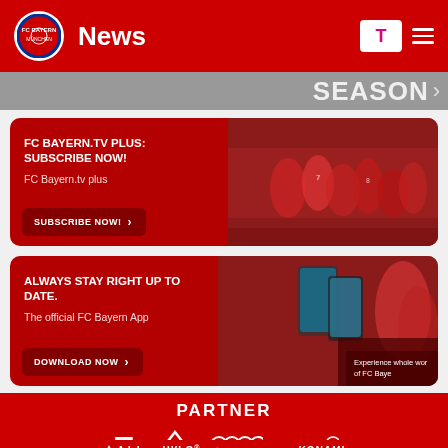FC Bayern Munich News page header with logo, News title, Telekom and menu icons
[Figure (photo): Partial scrolled banner showing SEASON text on dark background]
[Figure (infographic): FC Bayern.TV Plus subscription card with red background and team celebration photo. Headline: FC BAYERN.TV PLUS: SUBSCRIBE NOW! Subtext: FC Bayern.tv plus. Button: SUBSCRIBE NOW!]
[Figure (infographic): FC Bayern App promotional card with red background and player/phone photo. Headline: ALWAYS STAY RIGHT UP TO DATE. Subtext: The official FC Bayern App. Button: DOWNLOAD NOW. Overlay text: Experience whole world of FC Baye...]
PARTNER
[Figure (logo): Partner logos row 1: Telekom T, adidas, Audi (four rings), Allianz]
[Figure (logo): Partner logos row 2: Adobe, HYLO, HypoVereinsbank, KONAMI]